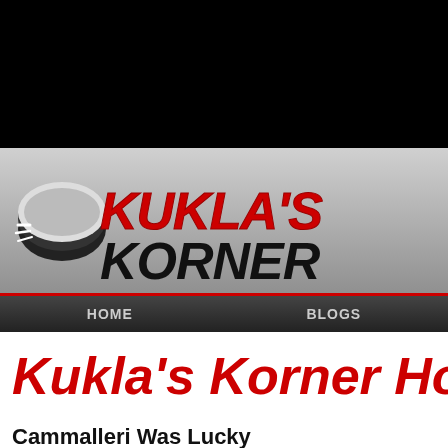[Figure (logo): Kukla's Korner hockey blog logo with hockey puck and stylized text on metallic gray background]
HOME   BLOGS
Kukla's Korner Hocke
Cammalleri Was Lucky
by Paul on 10/05/10 at 10:43 AM ET
Comments (0)